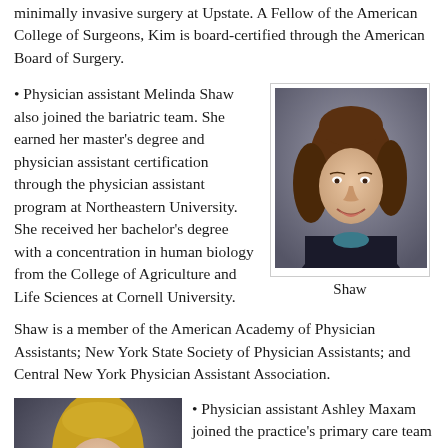minimally invasive surgery at Upstate. A Fellow of the American College of Surgeons, Kim is board-certified through the American Board of Surgery.
Physician assistant Melinda Shaw also joined the bariatric team. She earned her master's degree and physician assistant certification through the physician assistant program at Northeastern University. She received her bachelor's degree with a concentration in human biology from the College of Agriculture and Life Sciences at Cornell University. Shaw is a member of the American Academy of Physician Assistants; New York State Society of Physician Assistants; and Central New York Physician Assistant Association.
[Figure (photo): Headshot photo of Melinda Shaw, a woman with curly brown hair, smiling, wearing a dark blazer over a teal top, against a dark background.]
Shaw
[Figure (photo): Headshot photo of Ashley Maxam, a young woman with long blonde hair, smiling, wearing a dark top, against a dark grey background.]
Physician assistant Ashley Maxam joined the practice's primary care team at its Camillus location, 5417 W. Genesee St., corner of Knowell Road.
Maxam earned her Bachelor of Science in